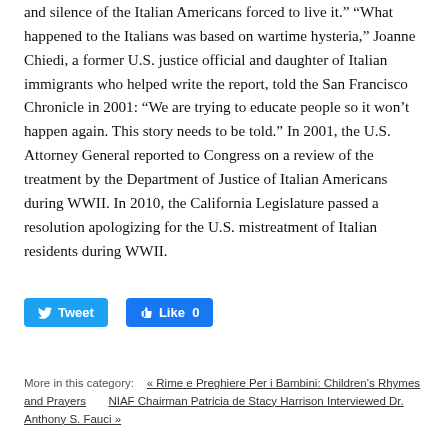and silence of the Italian Americans forced to live it.  "What happened to the Italians was based on wartime hysteria," Joanne Chiedi, a former U.S. justice official and daughter of Italian immigrants who helped write the report, told the San Francisco Chronicle in 2001: "We are trying to educate people so it won't happen again. This story needs to be told." In 2001, the U.S. Attorney General reported to Congress on a review of the treatment by the Department of Justice of Italian Americans during WWII. In 2010, the California Legislature passed a resolution apologizing for the U.S. mistreatment of Italian residents during WWII.
[Figure (other): Social media buttons: Tweet (Twitter/blue) and Like 0 (Facebook/blue)]
More in this category:   « Rime e Preghiere Per i Bambini: Children's Rhymes and Prayers   NIAF Chairman Patricia de Stacy Harrison Interviewed Dr. Anthony S. Fauci »